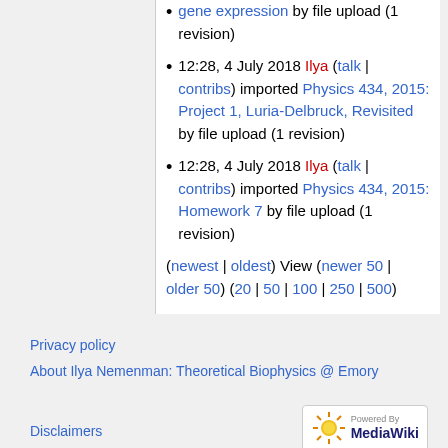gene expression by file upload (1 revision)
12:28, 4 July 2018 Ilya (talk | contribs) imported Physics 434, 2015: Project 1, Luria-Delbruck, Revisited by file upload (1 revision)
12:28, 4 July 2018 Ilya (talk | contribs) imported Physics 434, 2015: Homework 7 by file upload (1 revision)
(newest | oldest) View (newer 50 | older 50) (20 | 50 | 100 | 250 | 500)
Privacy policy
About Ilya Nemenman: Theoretical Biophysics @ Emory
Disclaimers
[Figure (logo): Powered by MediaWiki logo badge]